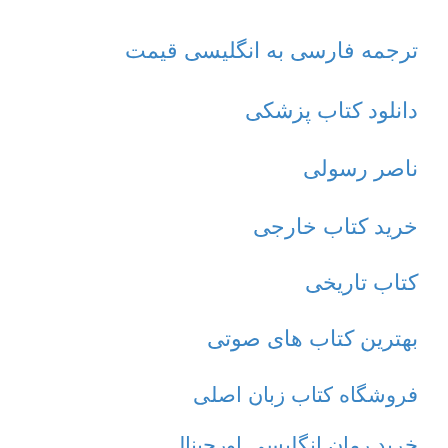ترجمه فارسی به انگلیسی قیمت
دانلود کتاب پزشکی
ناصر رسولی
خرید کتاب خارجی
کتاب تاریخی
بهترین کتاب های صوتی
فروشگاه کتاب زبان اصلی
خرید رمان انگلیسی اورجینال
کتاب رایگان